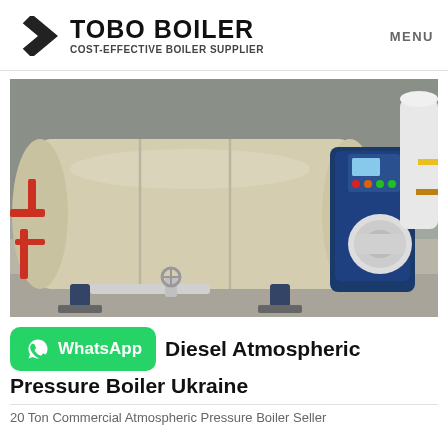TOBO BOILER — COST-EFFECTIVE BOILER SUPPLIER | MENU
[Figure (photo): Industrial horizontal fire-tube boiler (beige/cream cylindrical tank with blue front-end burner assembly, control panel with buttons, motor, and piping) installed in an industrial facility.]
Diesel Atmospheric Pressure Boiler Ukraine
20 Ton Commercial Atmospheric Pressure Boiler Seller